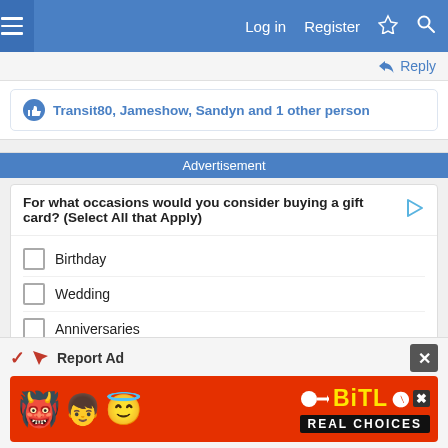Log in  Register
Transit80, Jameshow, Sandyn and 1 other person
Advertisement
For what occasions would you consider buying a gift card? (Select All that Apply)
Birthday
Wedding
Anniversaries
Graduation
Mother's Day
Father's Day
Report Ad
[Figure (illustration): BitLife game advertisement banner with devil emoji, girl emoji, angel emoji, sperm icon, BitLife logo in yellow, and 'REAL CHOICES' text on black background]